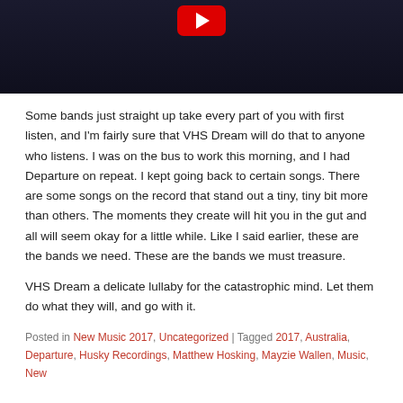[Figure (screenshot): Dark video thumbnail with red YouTube play button at top center]
Some bands just straight up take every part of you with first listen, and I'm fairly sure that VHS Dream will do that to anyone who listens. I was on the bus to work this morning, and I had Departure on repeat. I kept going back to certain songs. There are some songs on the record that stand out a tiny, tiny bit more than others. The moments they create will hit you in the gut and all will seem okay for a little while. Like I said earlier, these are the bands we need. These are the bands we must treasure.
VHS Dream a delicate lullaby for the catastrophic mind. Let them do what they will, and go with it.
Posted in New Music 2017, Uncategorized | Tagged 2017, Australia, Departure, Husky Recordings, Matthew Hosking, Mayzie Wallen, Music, New